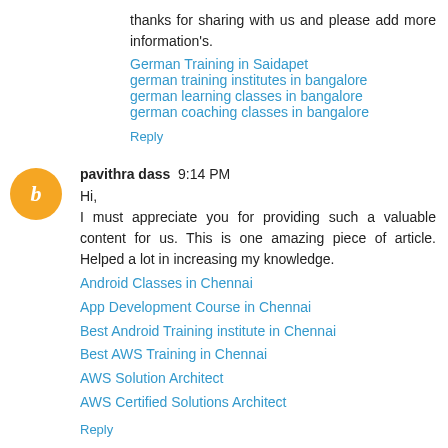thanks for sharing with us and please add more information's.
German Training in Saidapet
german training institutes in bangalore
german learning classes in bangalore
german coaching classes in bangalore
Reply
pavithra dass  9:14 PM
Hi, I must appreciate you for providing such a valuable content for us. This is one amazing piece of article. Helped a lot in increasing my knowledge.
Android Classes in Chennai
App Development Course in Chennai
Best Android Training institute in Chennai
Best AWS Training in Chennai
AWS Solution Architect
AWS Certified Solutions Architect
Reply